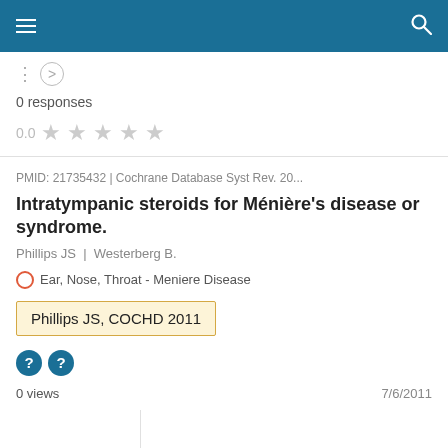0 responses
0.0 ★ ★ ★ ★ ★
PMID: 21735432 | Cochrane Database Syst Rev. 20...
Intratympanic steroids for Ménière's disease or syndrome.
Phillips JS | Westerberg B.
Ear, Nose, Throat - Meniere Disease
Phillips JS, COCHD 2011
0 views
7/6/2011